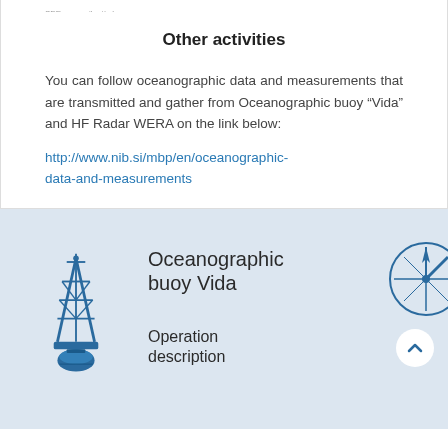Other activities
You can follow oceanographic data and measurements that are transmitted and gather from Oceanographic buoy “Vida” and HF Radar WERA on the link below:
http://www.nib.si/mbp/en/oceanographic-data-and-measurements
[Figure (illustration): Screenshot/panel of a webpage showing an oceanographic buoy icon (blue tower structure), a compass rose icon, a scroll-to-top button, and text reading 'Oceanographic buoy Vida' and 'Operation description' on a light blue background.]